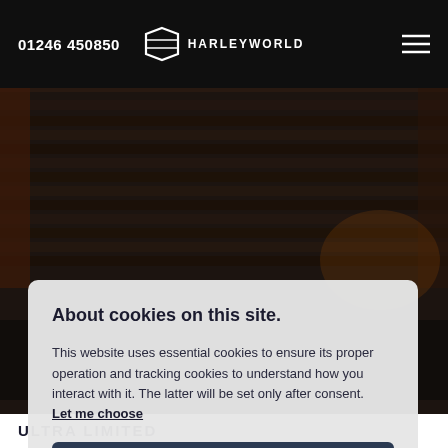01246 450850  HARLEYWORLD
[Figure (screenshot): Dark motorcycle garage background with a Harley-Davidson motorcycle partially visible]
About cookies on this site.
This website uses essential cookies to ensure its proper operation and tracking cookies to understand how you interact with it. The latter will be set only after consent. Let me choose
Accept all
Reject all
ULTRA LIMITED